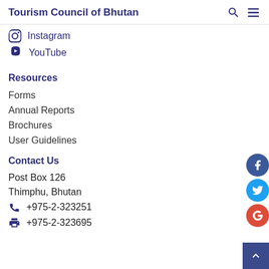Tourism Council of Bhutan
Instagram
YouTube
Resources
Forms
Annual Reports
Brochures
User Guidelines
Contact Us
Post Box 126
Thimphu, Bhutan
+975-2-323251
+975-2-323695